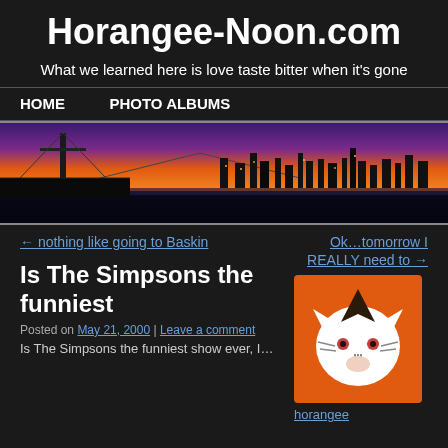Horangee-Noon.com
What we learned here is love taste bitter when it's gone
HOME   PHOTO ALBUMS
[Figure (photo): San Francisco Bay Bridge at sunset/dusk with city skyline in background, orange and purple sky]
← nothing like going to Baskin
Ok…tomorrow I REALLY need to →
Is The Simpsons the funniest
Posted on May 21, 2000 | Leave a comment
Is The Simpsons the funniest show ever, I…
[Figure (illustration): Orange square icon with a white cartoon cat/tiger face with dark geometric hair spike]
horangee